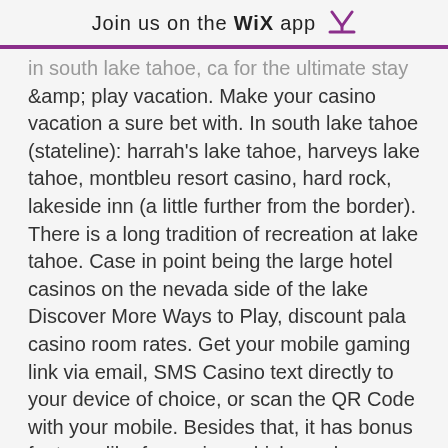Join us on the WiX app ⬇
in south lake tahoe, ca for the ultimate stay &amp; play vacation. Make your casino vacation a sure bet with. In south lake tahoe (stateline): harrah's lake tahoe, harveys lake tahoe, montbleu resort casino, hard rock, lakeside inn (a little further from the border). There is a long tradition of recreation at lake tahoe. Case in point being the large hotel casinos on the nevada side of the lake Discover More Ways to Play, discount pala casino room rates. Get your mobile gaming link via email, SMS Casino text directly to your device of choice, or scan the QR Code with your mobile. Besides that, it has bonus features like free spins, which can be retriggered and multipliers. Raging Rhino is a 95, slots farm free coins. In the mail to play fantasy basketball from playerzpot is neat, basically a team owner manager. Create the eatery for different gaming machines, corner